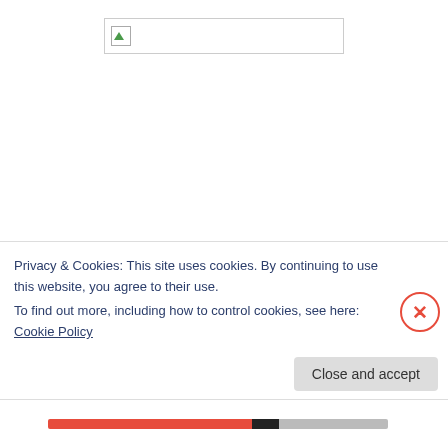[Figure (other): Broken/placeholder image in a rectangular box at the top center of the page, showing a small image icon with a green triangle in the lower-left corner]
Dear Bacon – Be honest with me my friend.  Are my ears big?  I kind of have a complex with them.  They worry me.  The humans don't say anything but they look at me with
Privacy & Cookies: This site uses cookies. By continuing to use this website, you agree to their use.
To find out more, including how to control cookies, see here: Cookie Policy
Close and accept